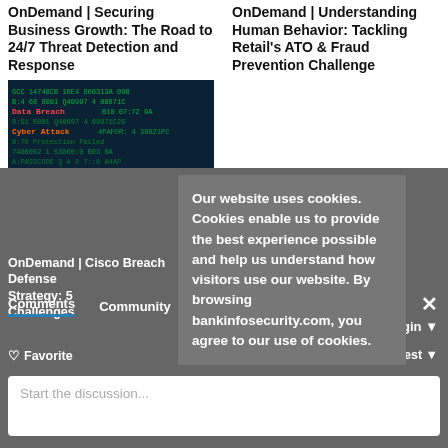OnDemand | Securing Business Growth: The Road to 24/7 Threat Detection and Response
OnDemand | Understanding Human Behavior: Tackling Retail's ATO & Fraud Prevention Challenge
[Figure (photo): Dark cybersecurity themed image with green/orange terminal text showing 'Data Breach', 'Cyber Attack', 'Protection Failed', 'System Safety Compromised' on dark blue background]
OnDemand | Cisco Breach Defense Strategy: 5 Challenges
Comments  Community  🔒 Privacy Policy
♡ Favorite  Sort by Oldest
Start the discussion...
Our website uses cookies. Cookies enable us to provide the best experience possible and help us understand how visitors use our website. By browsing bankinfosecurity.com, you agree to our use of cookies.